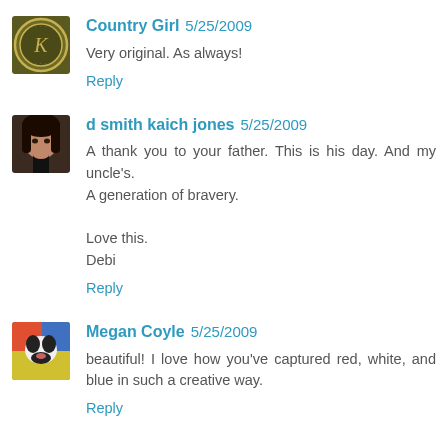[Figure (illustration): Avatar for Country Girl: circular green coin/medallion with letter K]
Country Girl 5/25/2009
Very original. As always!
Reply
[Figure (photo): Avatar for d smith kaich jones: woman with long dark hair]
d smith kaich jones 5/25/2009
A thank you to your father. This is his day. And my uncle's. A generation of bravery.

Love this.
Debi
Reply
[Figure (illustration): Avatar for Megan Coyle: illustrated dog/boston terrier on colorful background]
Megan Coyle 5/25/2009
beautiful! I love how you've captured red, white, and blue in such a creative way.
Reply